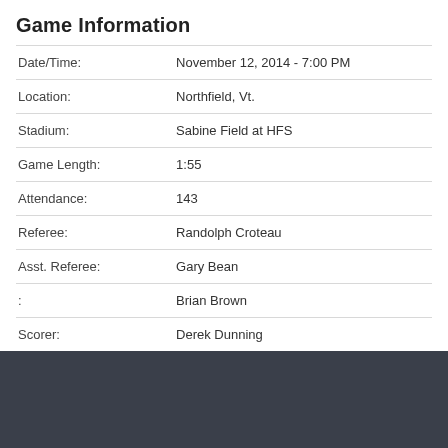Game Information
| Field | Value |
| --- | --- |
| Date/Time: | November 12, 2014 - 7:00 PM |
| Location: | Northfield, Vt. |
| Stadium: | Sabine Field at HFS |
| Game Length: | 1:55 |
| Attendance: | 143 |
| Referee: | Randolph Croteau |
| Asst. Referee: | Gary Bean |
| : | Brian Brown |
| Scorer: | Derek Dunning |
[Figure (infographic): Row of 5 social/action buttons: Facebook (blue), Twitter (cyan), Email (grey-blue), Print (purple), Add (orange-red)]